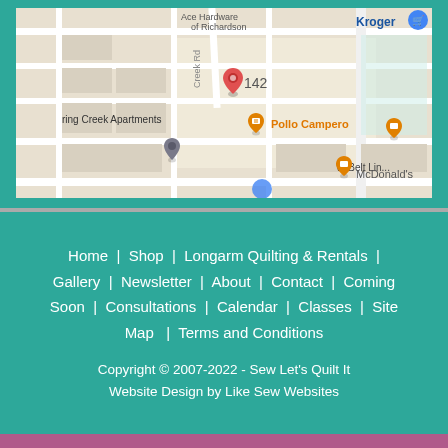[Figure (map): Google Maps screenshot showing a location marker numbered 142 near Spring Creek Apartments, with nearby businesses including Kroger, Pollo Campero, and McDonald's on W Belt Line Rd.]
Home  |  Shop  |  Longarm Quilting & Rentals  |  Gallery  |  Newsletter  |  About  |  Contact  |  Coming Soon  |  Consultations  |  Calendar  |  Classes  |  Site Map  |  Terms and Conditions
Copyright © 2007-2022 - Sew Let's Quilt It
Website Design by Like Sew Websites